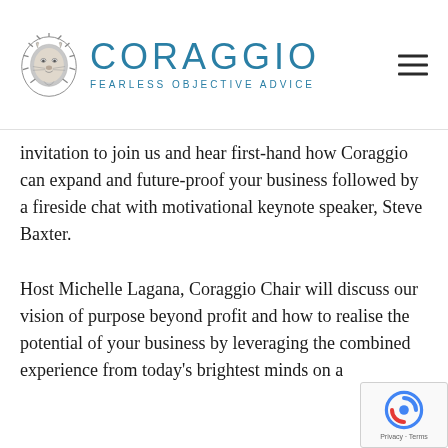CORAGGIO FEARLESS OBJECTIVE ADVICE
invitation to join us and hear first-hand how Coraggio can expand and future-proof your business followed by a fireside chat with motivational keynote speaker, Steve Baxter.
Host Michelle Lagana, Coraggio Chair will discuss our vision of purpose beyond profit and how to realise the potential of your business by leveraging the combined experience from today's brightest minds on a